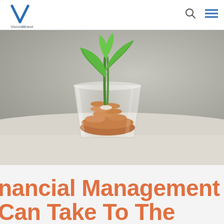[Figure (logo): Vision4Brand logo — a blue stylized V with 'Vision4Brand' text beneath]
[Figure (photo): A glass cup filled with copper coins with a small green plant seedling growing out of it, set against a blurred grey background, symbolizing financial growth]
nancial Management Can Take To The